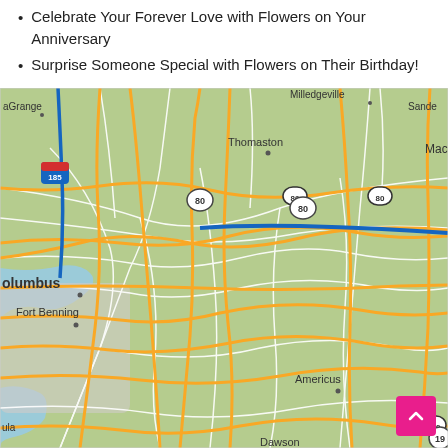Celebrate Your Forever Love with Flowers on Your Anniversary
Surprise Someone Special with Flowers on Their Birthday!
[Figure (map): Google Maps view of central Georgia showing cities including Macon, Warner Robins, Fort Valley, Perry, Columbus, Fort Benning, Americus, Cordele, Dawson, Leesburg Albany, Tifton, Fitzgerald, Eastman, Thomaston, LaGrange, Milledgeville, Sandersville, Dublin. Roads shown include Interstates 75, 16, 185 and US routes 80, 23, 19, 280, 129, 441, 82.]